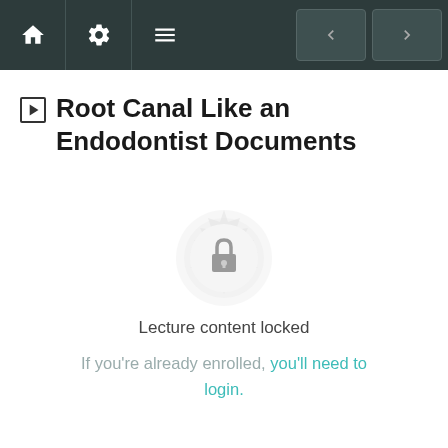Navigation bar with home, settings, menu icons and prev/next arrows
Root Canal Like an Endodontist Documents
[Figure (illustration): A circular badge/medallion with a padlock icon in the center, rendered in light gray, indicating locked content]
Lecture content locked
If you're already enrolled, you'll need to login.